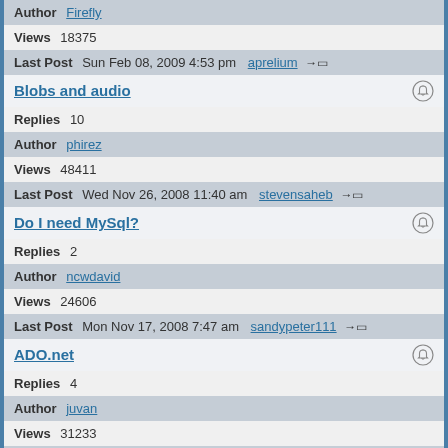Author  Firefly
Views  18375
Last Post  Sun Feb 08, 2009 4:53 pm  aprelium →□
Blobs and audio
Replies  10
Author  phirez
Views  48411
Last Post  Wed Nov 26, 2008 11:40 am  stevensaheb →□
Do I need MySql?
Replies  2
Author  ncwdavid
Views  24606
Last Post  Mon Nov 17, 2008 7:47 am  sandypeter111 →□
ADO.net
Replies  4
Author  juvan
Views  31233
Last Post  Tue Oct 21, 2008 9:43 am  chan_lemo →□